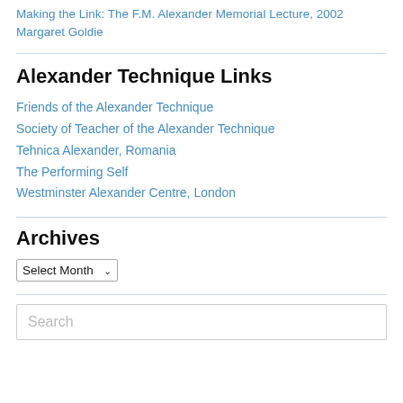Making the Link: The F.M. Alexander Memorial Lecture, 2002
Margaret Goldie
Alexander Technique Links
Friends of the Alexander Technique
Society of Teacher of the Alexander Technique
Tehnica Alexander, Romania
The Performing Self
Westminster Alexander Centre, London
Archives
Select Month (dropdown)
Search (search input)